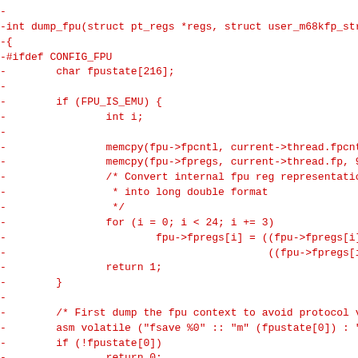diff --git code block showing removal of dump_fpu function lines in C source code